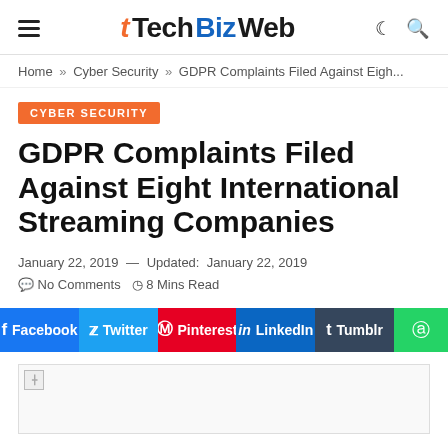TechBizWeb
Home » Cyber Security » GDPR Complaints Filed Against Eigh...
CYBER SECURITY
GDPR Complaints Filed Against Eight International Streaming Companies
January 22, 2019 — Updated: January 22, 2019  No Comments  8 Mins Read
[Figure (screenshot): Social share buttons row: Facebook, Twitter, Pinterest, LinkedIn, Tumblr, WhatsApp]
[Figure (photo): Broken image placeholder at bottom of page]